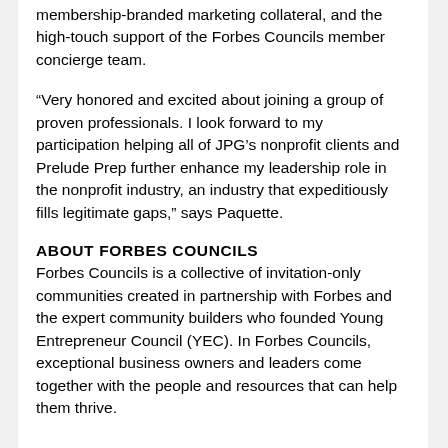membership-branded marketing collateral, and the high-touch support of the Forbes Councils member concierge team.
“Very honored and excited about joining a group of proven professionals. I look forward to my participation helping all of JPG’s nonprofit clients and Prelude Prep further enhance my leadership role in the nonprofit industry, an industry that expeditiously fills legitimate gaps,” says Paquette.
ABOUT FORBES COUNCILS
Forbes Councils is a collective of invitation-only communities created in partnership with Forbes and the expert community builders who founded Young Entrepreneur Council (YEC). In Forbes Councils, exceptional business owners and leaders come together with the people and resources that can help them thrive.